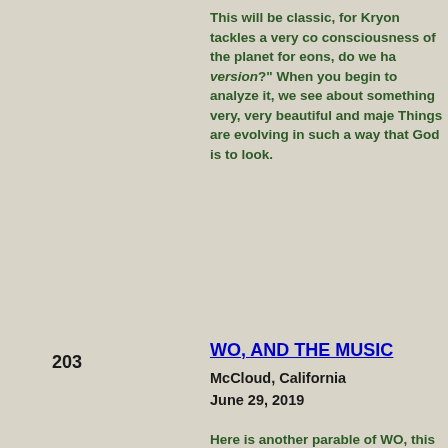This will be classic, for Kryon tackles a very co consciousness of the planet for eons, do we ha version?" When you begin to analyze it, we see about something very, very beautiful and maje Things are evolving in such a way that God is to look.
203
WO, AND THE MUSIC
McCloud, California
June 29, 2019
Here is another parable of WO, this time given the home of one of our "Channelling Retreats," is about finding out who we are.
202
THE ENLIGHTENED CLOCK
Pico Island - The Azores - Portugal
May 25, 2019
Sometimes Kryon gives some metaphors that The "Enlightened Clock" is the metaphor of wh we are "not aware of the puzzle." Could there h